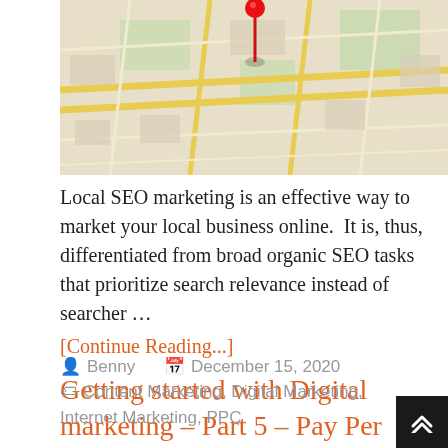[Figure (map): A stylized city map viewed at an angle with a red location pin marker placed in the center]
Local SEO marketing is an effective way to market your local business online.  It is, thus, differentiated from broad organic SEO tasks that prioritize search relevance instead of searcher …
[Continue Reading...]
Getting started with Digital marketing – Part 5 – Pay Per Click (PPC) promotions
Benny   December 15, 2020   Content Marketing, Digital Marketing, Internet Marketing, PPC